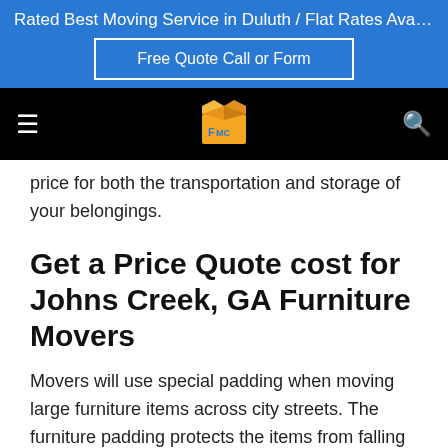Rated Best Moving Service in Duluth / Flat Rates Available / F...
Free Quote Call or Form
[Figure (logo): FMC moving company logo with boxes]
price for both the transportation and storage of your belongings.
Get a Price Quote cost for Johns Creek, GA Furniture Movers
Movers will use special padding when moving large furniture items across city streets. The furniture padding protects the items from falling and sliding. The